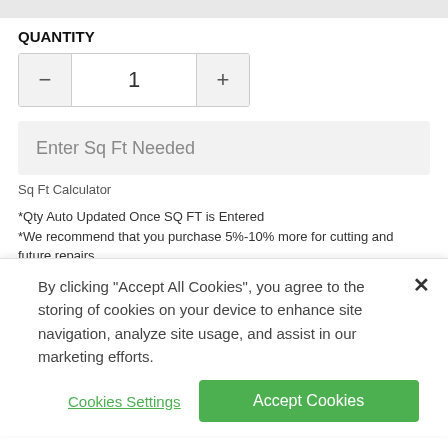QUANTITY
[Figure (other): Quantity stepper control with minus button, value of 1, and plus button]
[Figure (other): Text input field with placeholder text 'Enter Sq Ft Needed']
Sq Ft Calculator
*Qty Auto Updated Once SQ FT is Entered
*We recommend that you purchase 5%-10% more for cutting and future repairs.
By clicking "Accept All Cookies", you agree to the storing of cookies on your device to enhance site navigation, analyze site usage, and assist in our marketing efforts.
Cookies Settings    Accept Cookies